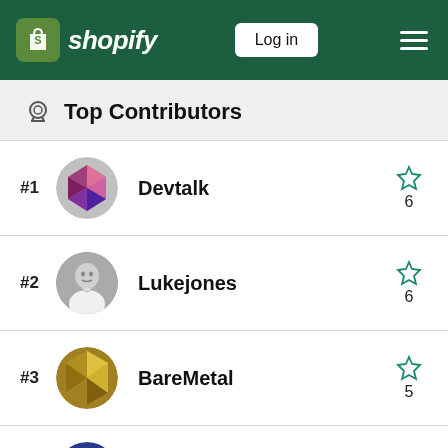Shopify — Log in
Top Contributors
#1 Devtalk — 6 stars
#2 Lukejones — 6 stars
#3 BareMetal — 5 stars
#4 Anshu-Shar — 3 stars